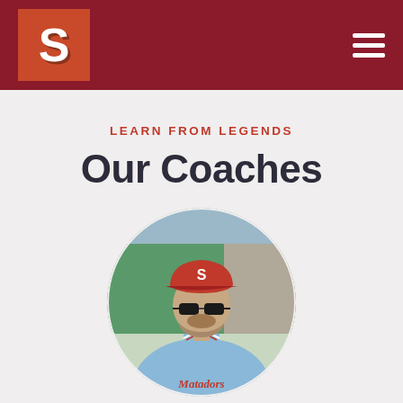[Figure (logo): Dark red header bar with orange-red S logo box on the left and hamburger menu icon on the right]
LEARN FROM LEGENDS
Our Coaches
[Figure (photo): Circular cropped photo of a baseball coach wearing a red cap with S logo, sunglasses, and a light blue Matadors jersey]